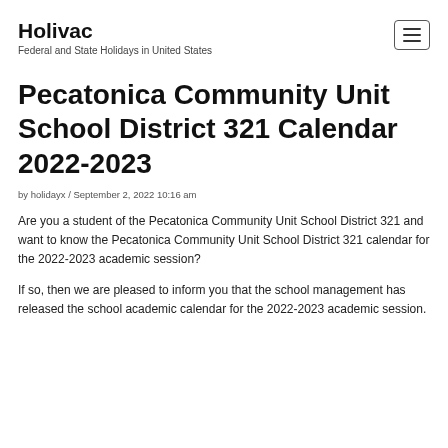Holivac
Federal and State Holidays in United States
Pecatonica Community Unit School District 321 Calendar 2022-2023
by holidayx / September 2, 2022 10:16 am
Are you a student of the Pecatonica Community Unit School District 321 and want to know the Pecatonica Community Unit School District 321 calendar for the 2022-2023 academic session?
If so, then we are pleased to inform you that the school management has released the school academic calendar for the 2022-2023 academic session.